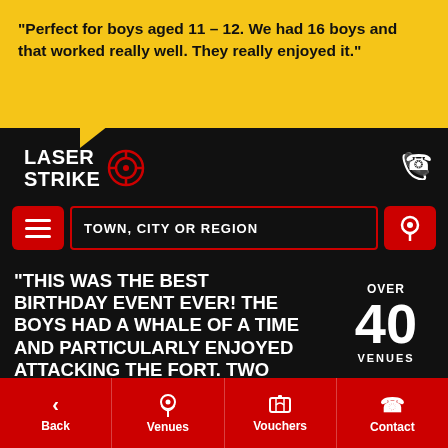"Perfect for boys aged 11 - 12. We had 16 boys and that worked really well. They really enjoyed it."
[Figure (logo): Laser Strike logo with crosshair/target icon]
TOWN, CITY OR REGION
"THIS WAS THE BEST BIRTHDAY EVENT EVER! THE BOYS HAD A WHALE OF A TIME AND PARTICULARLY ENJOYED ATTACKING THE FORT. TWO
OVER 40 VENUES
Back | Venues | Vouchers | Contact